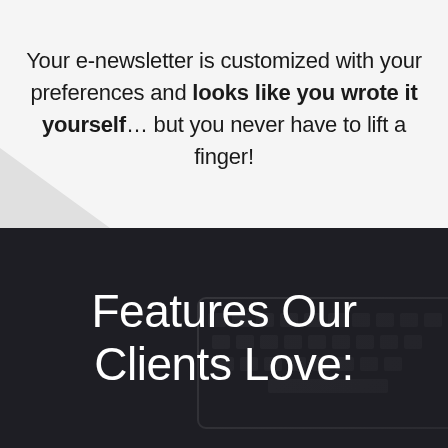Your e-newsletter is customized with your preferences and looks like you wrote it yourself… but you never have to lift a finger!
Features Our Clients Love: